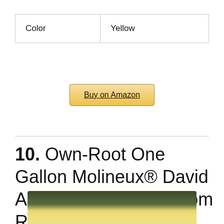| Color | Yellow |
Buy on Amazon
10. Own-Root One Gallon Molineux® David Austin Rose by Heirloom Roses
[Figure (photo): Yellow rose flower with green leaves background, partially cropped at bottom of page]